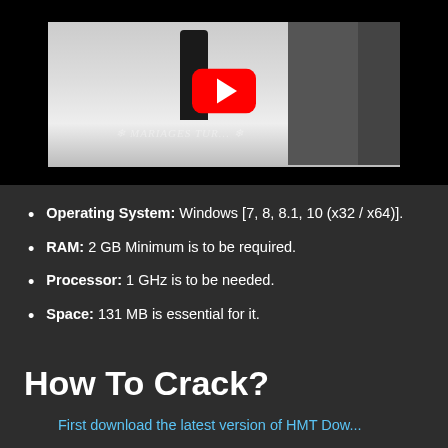[Figure (screenshot): YouTube video thumbnail showing a person walking in a hallway with a black background, and a YouTube play button overlay. Watermark reads 'MARIAGES TUR...' in decorative script.]
Operating System: Windows [7, 8, 8.1, 10 (x32 / x64)].
RAM: 2 GB Minimum is to be required.
Processor: 1 GHz is to be needed.
Space: 131 MB is essential for it.
How To Crack?
First download the latest version of HMT Dow...